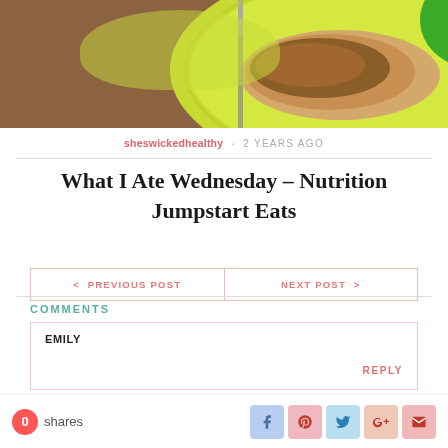[Figure (photo): Food photo showing a green plate with broccoli and protein dish, partial view cropped at top]
sheswickedhealthy · 2 YEARS AGO
What I Ate Wednesday – Nutrition Jumpstart Eats
< PREVIOUS POST   NEXT POST >
COMMENTS
EMILY   REPLY